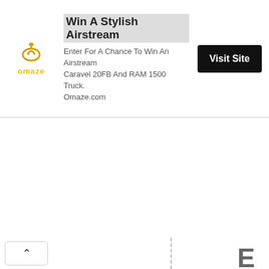[Figure (screenshot): Advertisement banner for Omaze featuring logo, headline 'Win A Stylish Airstream', body text, and 'Visit Site' button]
[Figure (screenshot): Web page content area showing a back/up chevron button on the left and vertical text reading letters E R W H E N T H E I on the right side with a dashed vertical line]